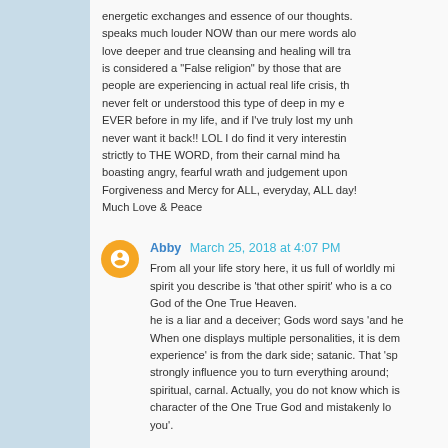energetic exchanges and essence of our thoughts. speaks much louder NOW than our mere words alo love deeper and true cleansing and healing will tra is considered a "False religion" by those that are people are experiencing in actual real life crisis, th never felt or understood this type of deep in my e EVER before in my life, and if I've truly lost my unh never want it back!! LOL I do find it very interestin strictly to THE WORD, from their carnal mind ha boasting angry, fearful wrath and judgement upon Forgiveness and Mercy for ALL, everyday, ALL day! Much Love & Peace
Abby  March 25, 2018 at 4:07 PM
From all your life story here, it us full of worldly mi spirit you describe is 'that other spirit' who is a co God of the One True Heaven.
he is a liar and a deceiver; Gods word says 'and he When one displays multiple personalities, it is dem experience' is from the dark side; satanic. That 'sp strongly influence you to turn everything around; spiritual, carnal. Actually, you do not know which is character of the One True God and mistakenly lo you'.